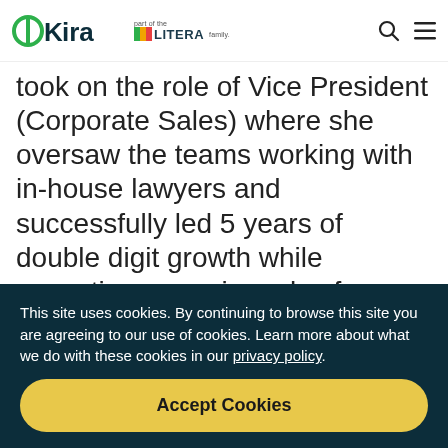OKira — part of the LITERA family.
took on the role of Vice President (Corporate Sales) where she oversaw the teams working with in-house lawyers and successfully led 5 years of double digit growth while executing on major sales force transformation projects. As the first
This site uses cookies. By continuing to browse this site you are agreeing to our use of cookies. Learn more about what we do with these cookies in our privacy policy.
Accept Cookies